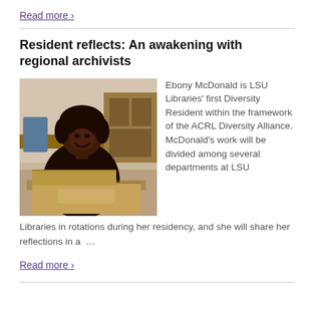Read more ›
Resident reflects: An awakening with regional archivists
[Figure (photo): Photo of Ebony McDonald, a woman smiling, seated at a table with boxes in front of her in a library or archive room.]
Ebony McDonald is LSU Libraries' first Diversity Resident within the framework of the ACRL Diversity Alliance. McDonald's work will be divided among several departments at LSU Libraries in rotations during her residency, and she will share her reflections in a …
Read more ›